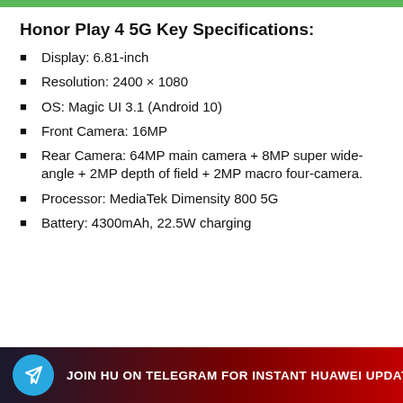Honor Play 4 5G Key Specifications:
Display:  6.81-inch
Resolution: 2400 × 1080
OS: Magic UI 3.1 (Android 10)
Front Camera: 16MP
Rear Camera: 64MP main camera + 8MP super wide-angle + 2MP depth of field + 2MP macro four-camera.
Processor: MediaTek Dimensity 800 5G
Battery: 4300mAh, 22.5W charging
[Figure (infographic): Dark banner with Telegram icon and text: JOIN HU ON TELEGRAM FOR INSTANT HUAWEI UPDATES]